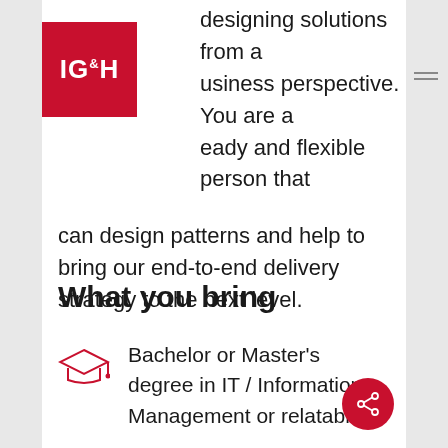[Figure (logo): IG&H company logo — white text on red square background]
designing solutions from a business perspective. You are a ready and flexible person that can design patterns and help to bring our end-to-end delivery strategy to the next level.
What you bring
Bachelor or Master's degree in IT / Information Management or relatable